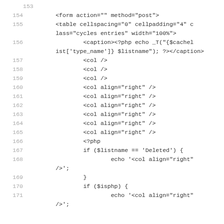Code listing lines 153-171 (PHP/HTML source code)
154    <form action="" method="post">
155    <table cellspacing="0" cellpadding="4" class="cycles entries" width="100%">
156        <caption><?php echo _T("{$cachelist['type_name']} $listname"); ?></caption>
157        <col />
158        <col />
159        <col />
160        <col align="right" />
161        <col align="right" />
162        <col align="right" />
163        <col align="right" />
164        <col align="right" />
165        <col align="right" />
166        <?php
167        if ($listname == 'Deleted') {
168            echo '<col align="right" />';
169        }
170        if ($isphp) {
171            echo '<col align="right" />';